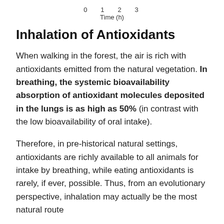[Figure (continuous-plot): Partial view of chart x-axis showing tick labels 0, 1, 2, 3 and axis label 'Time (h)']
Inhalation of Antioxidants
When walking in the forest, the air is rich with antioxidants emitted from the natural vegetation. In breathing, the systemic bioavailability absorption of antioxidant molecules deposited in the lungs is as high as 50% (in contrast with the low bioavailability of oral intake).
Therefore, in pre-historical natural settings, antioxidants are richly available to all animals for intake by breathing, while eating antioxidants is rarely, if ever, possible. Thus, from an evolutionary perspective, inhalation may actually be the most natural route